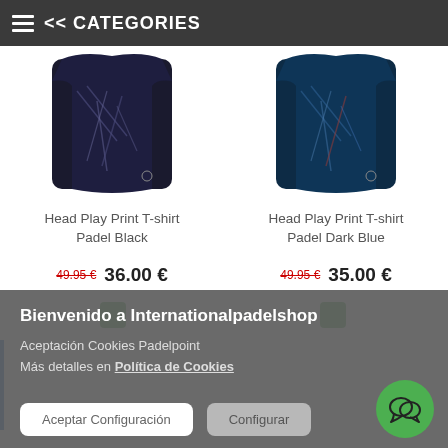<< CATEGORIES
[Figure (photo): Head Play Print T-shirt Padel Black - dark colored sports shirt product photo]
Head Play Print T-shirt Padel Black
49.95 €  36.00 €
Add to Cart
[Figure (photo): Head Play Print T-shirt Padel Dark Blue - dark blue sports shirt product photo]
Head Play Print T-shirt Padel Dark Blue
49.95 €  35.00 €
Add to Cart
Bienvenido a Internationalpadelshop
Aceptación Cookies Padelpoint
Más detalles en Política de Cookies
Aceptar Configuración
Configurar